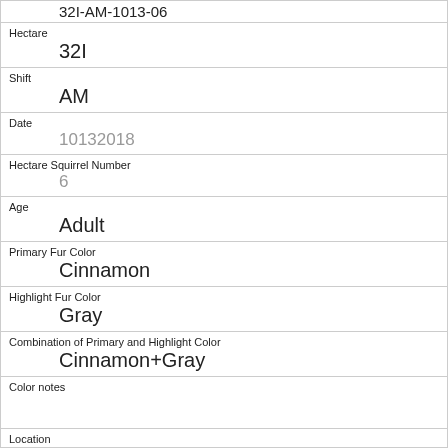32I-AM-1013-06
Hectare
32I
Shift
AM
Date
10132018
Hectare Squirrel Number
6
Age
Adult
Primary Fur Color
Cinnamon
Highlight Fur Color
Gray
Combination of Primary and Highlight Color
Cinnamon+Gray
Color notes
Location
Above Ground